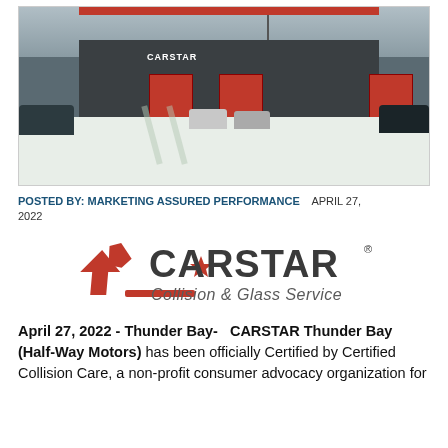[Figure (photo): Exterior photo of CARSTAR Thunder Bay auto body shop in winter, with snow-covered parking lot and red garage doors]
POSTED BY: MARKETING ASSURED PERFORMANCE    APRIL 27, 2022
[Figure (logo): CARSTAR Collision & Glass Service logo with red star and swoosh]
April 27, 2022  - Thunder Bay-   CARSTAR Thunder Bay (Half-Way Motors) has been officially Certified by Certified Collision Care, a non-profit consumer advocacy organization for